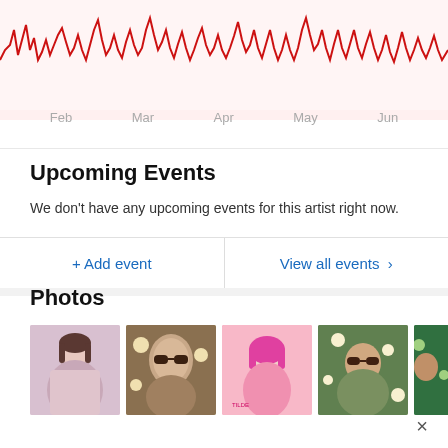[Figure (continuous-plot): Red line chart showing music/artist listening activity over time from Feb to Jun, on a light pink background. The waveform is irregular and spiky.]
Feb    Mar    Apr    May    Jun
Upcoming Events
We don't have any upcoming events for this artist right now.
+ Add event
View all events >
Photos
[Figure (photo): Five photo thumbnails of a female artist, various poses and styles]
×